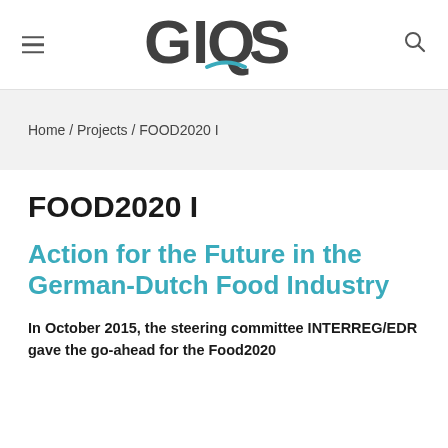GIOS
Home / Projects / FOOD2020 I
FOOD2020 I
Action for the Future in the German-Dutch Food Industry
In October 2015, the steering committee INTERREG/EDR gave the go-ahead for the Food2020